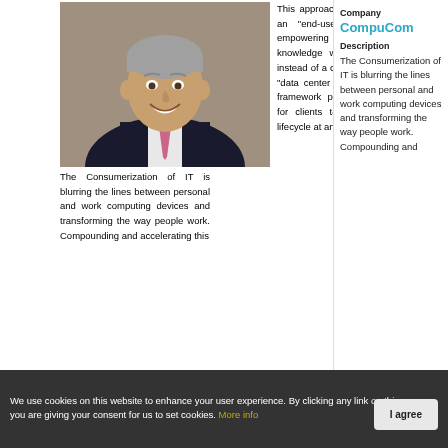[Figure (photo): Headshot of a middle-aged man in a suit with a pink tie, smiling]
This approach was designed with an "end-user in" viewpoint – empowering and enhancing knowledge workers' productivity– instead of a command-and-control, "data center out" approach. "This framework provides the flexibility for clients to enter into the IT lifecycle at any point and deliver
The Consumerization of IT is blurring the lines between personal and work computing devices and transforming the way people work. Compounding and accelerating this
Company
CompuCom
Description
The Consumerization of IT is blurring the lines between personal and work computing devices and transforming the way people work. Compounding and
We use cookies on this website to enhance your user experience. By clicking any link on this page you are giving your consent for us to set cookies. More info